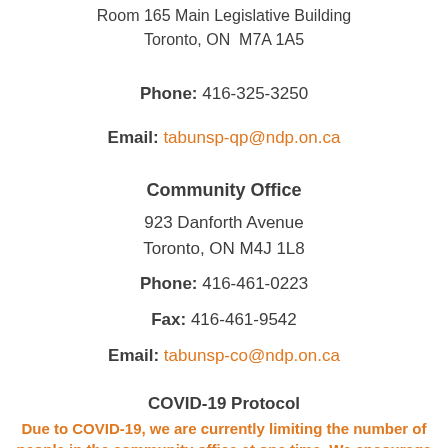Room 165 Main Legislative Building
Toronto, ON  M7A 1A5
Phone: 416-325-3250
Email: tabunsp-qp@ndp.on.ca
Community Office
923 Danforth Avenue
Toronto, ON M4J 1L8
Phone: 416-461-0223
Fax: 416-461-9542
Email: tabunsp-co@ndp.on.ca
COVID-19 Protocol
Due to COVID-19, we are currently limiting the number of people in the community office at one time. We encourage you to make an